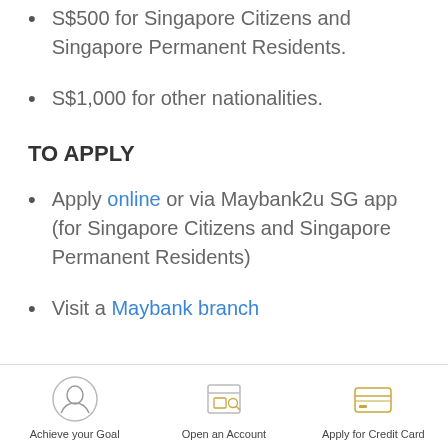S$500 for Singapore Citizens and Singapore Permanent Residents.
S$1,000 for other nationalities.
TO APPLY
Apply online or via Maybank2u SG app (for Singapore Citizens and Singapore Permanent Residents)
Visit a Maybank branch
Achieve your Goal  Open an Account  Apply for Credit Card